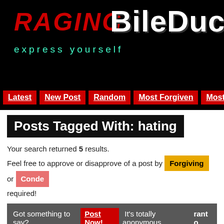[Figure (screenshot): RagingBileDuct website header banner with red grunge logo text 'RAGING' and white grunge text 'BileDuct' on black background, with cyan tagline 'express yourself']
Latest | New Post | Random | Most Forgiven | Most Co...
Posts Tagged With: hating
Your search returned 5 results. Feel free to approve or disapprove of a post by Forgiving or Conde... required!
Got something to say? Post Now! It's totally anonymous... rant o
Shameful petty deeds of the day #2:
Got a call from my Mom on my way home today. I was waiting for the tram never came, so I walked FOREVER and I missed the 6 p.m. this point I'm hating my life and wanting to gnaw my fucking wrists...